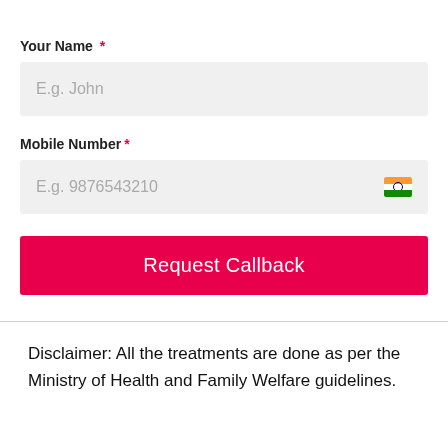Your Name *
E.g. John
Mobile Number *
E.g. 9876543210
Request Callback
Disclaimer: All the treatments are done as per the Ministry of Health and Family Welfare guidelines.